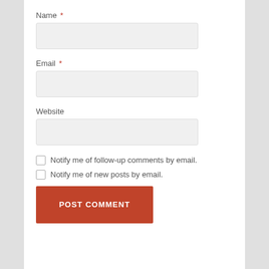Name *
[Figure (other): Text input field for Name]
Email *
[Figure (other): Text input field for Email]
Website
[Figure (other): Text input field for Website]
Notify me of follow-up comments by email.
Notify me of new posts by email.
POST COMMENT